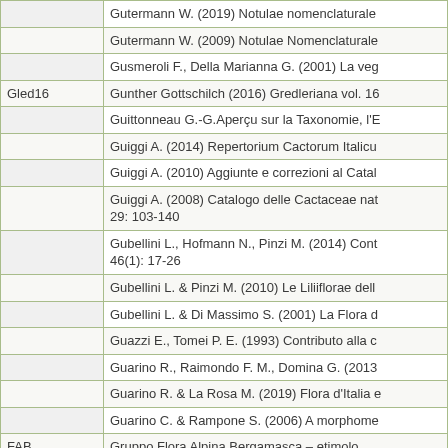| Code | Reference |
| --- | --- |
|  | Gutermann W. (2019) Notulae nomenclaturale... |
|  | Gutermann W. (2009) Notulae Nomenclaturale... |
|  | Gusmeroli F., Della Marianna G. (2001) La veg... |
| Gled16 | Gunther Gottschilch (2016) Gredleriana vol. 16... |
|  | Guittonneau G.-G.Aperçu sur la Taxonomie, l'E... |
|  | Guiggi A. (2014) Repertorium Cactorum Italicu... |
|  | Guiggi A. (2010) Aggiunte e correzioni al Catal... |
|  | Guiggi A. (2008) Catalogo delle Cactaceae nat... 29: 103-140 |
|  | Gubellini L., Hofmann N., Pinzi M. (2014) Cont... 46(1): 17-26 |
|  | Gubellini L. & Pinzi M. (2010) Le Liliiflorae dell... |
|  | Gubellini L. & Di Massimo S. (2001) La Flora d... |
|  | Guazzi E., Tomei P. E. (1993) Contributo alla c... |
|  | Guarino R., Raimondo F. M., Domina G. (2013... |
|  | Guarino R. & La Rosa M. (2019) Flora d'Italia e... |
|  | Guarino C. & Rampone S. (2006) A morphome... |
| FAB | Gruppo Flora Alpina Bergamasca – etimolo... |
|  | Groom Q.J., Van Der Straeten J., Hoste I. (201... |
|  | Groom Q. (2019) Typification of Oxalis bowiei Y... |
|  | Groendijk-Wilders N. & Springate L. (2011) Se... |